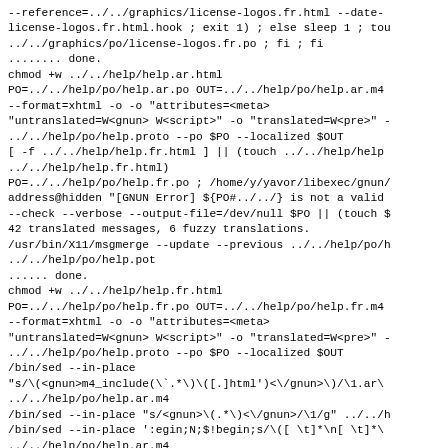--reference=../../graphics/license-logos.fr.html --date-
license-logos.fr.html.hook ; exit 1) ; else sleep 1 ; tou
../../graphics/po/license-logos.fr.po ; fi ; fi
........ done.
chmod +w ../../help/help.ar.html
PO=../../help/po/help.ar.po OUT=../../help/po/help.ar.m4
--format=xhtml -o ontagerror=silent -o "attributes=<meta>
"untranslated=W<gnun> W<script>" -o "translated=W<pre>" -
../../help/po/help.proto --po $PO --localized $OUT
[ -f ../../help/help.fr.html ] || (touch ../../help/help
../../help/help.fr.html)
PO=../../help/po/help.fr.po ; /home/y/yavor/libexec/gnun/
address@hidden "[GNUN Error] ${PO#../../} is not a valid
--check --verbose --output-file=/dev/null $PO || (touch $
42 translated messages, 6 fuzzy translations.
/usr/bin/X11/msgmerge --update --previous ../../help/po/h
../../help/po/help.pot
...... done.
chmod +w ../../help/help.fr.html
PO=../../help/po/help.fr.po OUT=../../help/po/help.fr.m4
--format=xhtml -o ontagerror=silent -o "attributes=<meta>
"untranslated=W<gnun> W<script>" -o "translated=W<pre>" -
../../help/po/help.proto --po $PO --localized $OUT
/bin/sed --in-place
"s/\(<gnun>m4_include(\`.*\)\([.]html')<\/gnun>\)/\1.ar\
../../help/po/help.ar.m4
/bin/sed --in-place "s/<gnun>\(.*\)<\/gnun>/\1/g" ../../h
/bin/sed --in-place ':egin;N;$!begin;s/\([ \t]*\n[ \t]*\
../../help/po/help.ar.m4
for inc in header head-include-1 head-include-2 banner bo
body-include-2 footer footer-short footer-mini; do $(bin/(